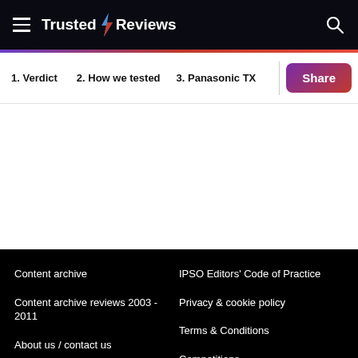Trusted Reviews
1. Verdict  2. How we tested  3. Panasonic TX
Content archive | Content archive reviews 2003 - 2011 | About us / contact us | IPSO Editors' Code of Practice | Privacy & cookie policy | Terms & Conditions | Competitions